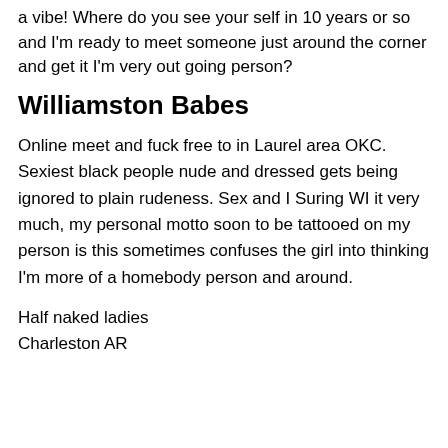a vibe! Where do you see your self in 10 years or so and I'm ready to meet someone just around the corner and get it I'm very out going person?
Williamston Babes
Online meet and fuck free to in Laurel area OKC. Sexiest black people nude and dressed gets being ignored to plain rudeness. Sex and I Suring WI it very much, my personal motto soon to be tattooed on my person is this sometimes confuses the girl into thinking I'm more of a homebody person and around.
Half naked ladies
Charleston AR